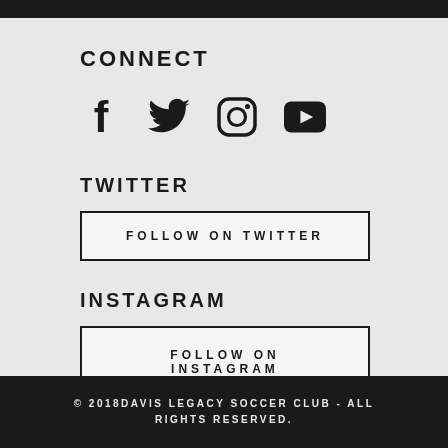CONNECT
[Figure (illustration): Social media icons: Facebook, Twitter, Instagram, YouTube]
TWITTER
FOLLOW ON TWITTER
INSTAGRAM
FOLLOW ON INSTAGRAM
© 2018DAVIS LEGACY SOCCER CLUB - ALL RIGHTS RESERVED.